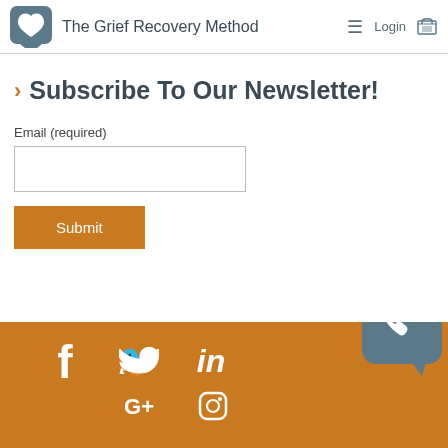The Grief Recovery Method
Subscribe To Our Newsletter!
Email (required)
[Figure (screenshot): Email input text box]
[Figure (screenshot): Submit button (orange)]
Social media icons: Facebook, Twitter, LinkedIn, Google+, Instagram, Phone